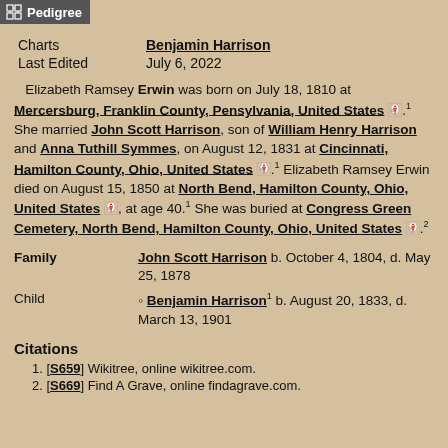Pedigree
|  |  |
| --- | --- |
| Charts | Benjamin Harrison |
| Last Edited | July 6, 2022 |
Elizabeth Ramsey Erwin was born on July 18, 1810 at Mercersburg, Franklin County, Pensylvania, United States. She married John Scott Harrison, son of William Henry Harrison and Anna Tuthill Symmes, on August 12, 1831 at Cincinnati, Hamilton County, Ohio, United States. Elizabeth Ramsey Erwin died on August 15, 1850 at North Bend, Hamilton County, Ohio, United States, at age 40. She was buried at Congress Green Cemetery, North Bend, Hamilton County, Ohio, United States.
| Family | Person |
| --- | --- |
| Family | John Scott Harrison b. October 4, 1804, d. May 25, 1878 |
| Child | Benjamin Harrison b. August 20, 1833, d. March 13, 1901 |
Citations
[S659] Wikitree, online wikitree.com.
[S669] Find A Grave, online findagrave.com.